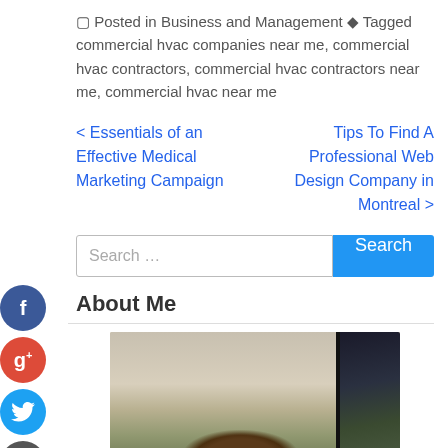Posted in Business and Management Tagged commercial hvac companies near me, commercial hvac contractors, commercial hvac contractors near me, commercial hvac near me
< Essentials of an Effective Medical Marketing Campaign   Tips To Find A Professional Web Design Company in Montreal >
Search …
About Me
[Figure (photo): Partial photo of a person (top of head with dark hair) taken inside a vehicle, with a dark window frame visible on the right and outdoor scenery in background]